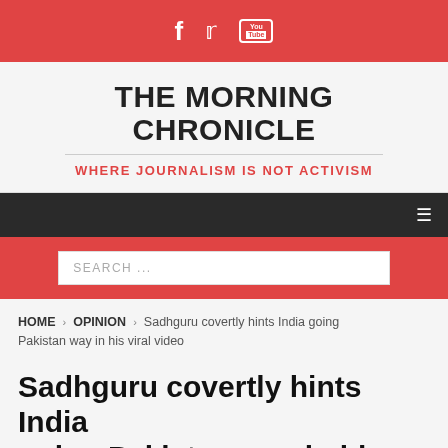[Figure (infographic): Red top bar with social media icons: Facebook (f), Twitter (bird), YouTube (You/Tube box)]
THE MORNING CHRONICLE
WHERE JOURNALISM IS NOT ACTIVISM
[Figure (infographic): Dark navigation bar with hamburger menu icon on the right]
[Figure (infographic): Red search bar with white search input field containing placeholder text SEARCH ...]
HOME > OPINION > Sadhguru covertly hints India going Pakistan way in his viral video
Sadhguru covertly hints India going Pakistan way in his viral video